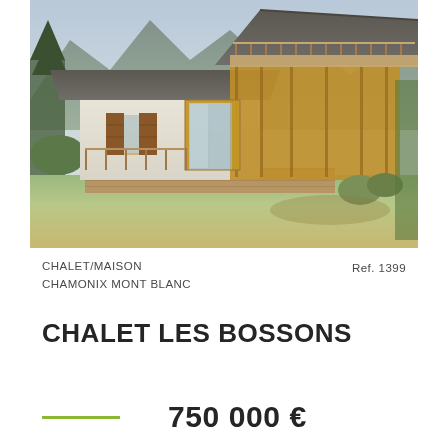[Figure (photo): Exterior photo of a chalet/house in Chamonix Mont Blanc with wooden balcony, shutters, large terrace, green lawn and mountain backdrop]
CHALET/MAISON
CHAMONIX MONT BLANC
Ref. 1399
CHALET LES BOSSONS
750 000 €